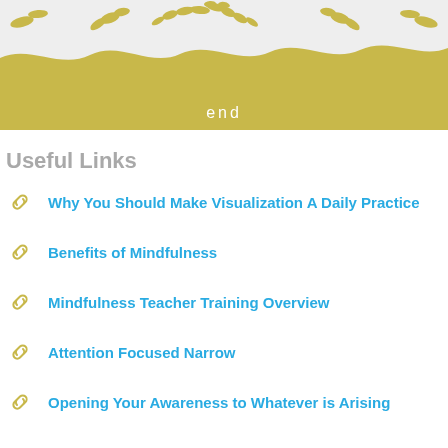[Figure (illustration): Decorative banner with gold wavy landscape and leaf/vine border at top, with the word 'end' centered in white text on gold background]
Useful Links
Why You Should Make Visualization A Daily Practice
Benefits of Mindfulness
Mindfulness Teacher Training Overview
Attention Focused Narrow
Opening Your Awareness to Whatever is Arising